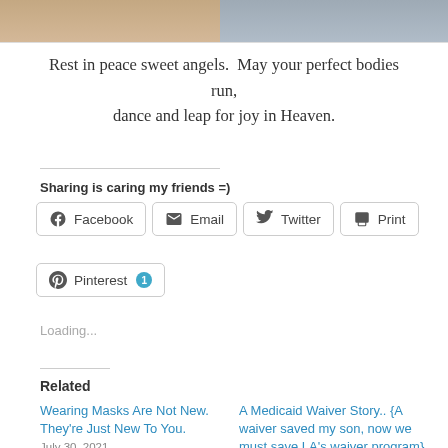[Figure (photo): Two partial photos at top: left shows a person's face/shoulder with warm tones, right shows another person with cooler tones]
Rest in peace sweet angels.  May your perfect bodies run, dance and leap for joy in Heaven.
Sharing is caring my friends =)
Facebook   Email   Twitter   Print   Pinterest 1
Loading...
Related
Wearing Masks Are Not New. They're Just New To You.
July 30, 2021
A Medicaid Waiver Story.. {A waiver saved my son, now we must save LA's waiver program}
July 30, 2021